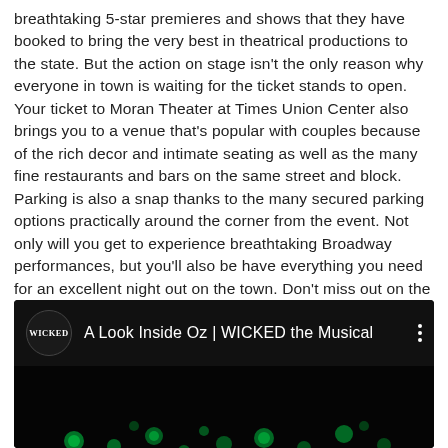breathtaking 5-star premieres and shows that they have booked to bring the very best in theatrical productions to the state. But the action on stage isn't the only reason why everyone in town is waiting for the ticket stands to open. Your ticket to Moran Theater at Times Union Center also brings you to a venue that's popular with couples because of the rich decor and intimate seating as well as the many fine restaurants and bars on the same street and block. Parking is also a snap thanks to the many secured parking options practically around the corner from the event. Not only will you get to experience breathtaking Broadway performances, but you'll also be have everything you need for an excellent night out on the town. Don't miss out on the best Broadway Musical venue in New York! Click the Buy Tickets button below to order your tickets while supplies last.
[Figure (screenshot): YouTube video embed showing 'A Look Inside Oz | WICKED the Musical' with Wicked logo, video title, three-dot menu, and a dark thumbnail with green bokeh lights]